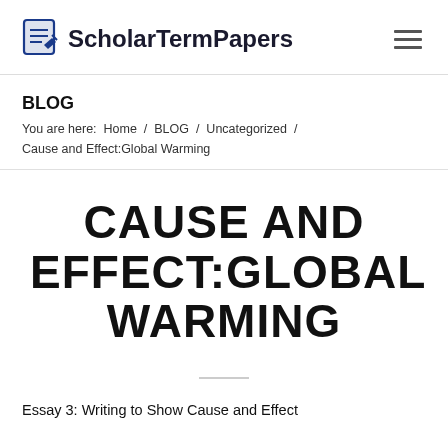ScholarTermPapers
BLOG
You are here:  Home  /  BLOG  /  Uncategorized  /  Cause and Effect:Global Warming
CAUSE AND EFFECT:GLOBAL WARMING
Essay 3: Writing to Show Cause and Effect